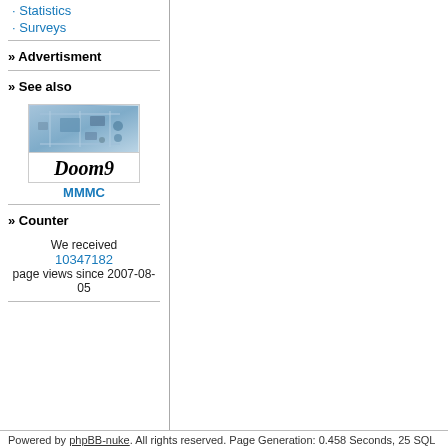Statistics
Surveys
» Advertisment
» See also
[Figure (other): Doom9 banner with PCB/motherboard image on top and italic bold 'Doom9' text below, with 'MMMC' link underneath]
» Counter
We received 10347182 page views since 2007-08-05
Powered by phpBB-nuke. All rights reserved. Page Generation: 0.458 Seconds, 25 SQL